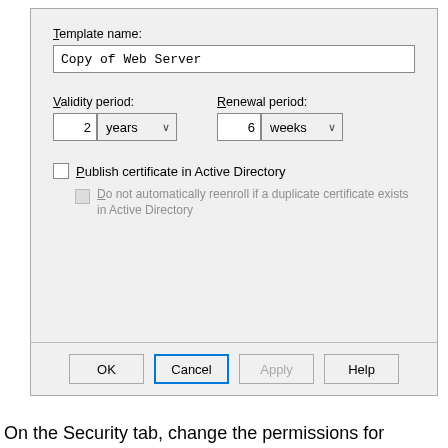[Figure (screenshot): Windows dialog box for certificate template properties. Shows fields: Template name with value 'Copy of Web Server', Validity period set to 2 years, Renewal period set to 6 weeks, a checkbox for 'Publish certificate in Active Directory' (unchecked), and a grayed-out sub-checkbox 'Do not automatically reenroll if a duplicate certificate exists in Active Directory'. Dialog buttons: OK, Cancel (focused), Apply (grayed), Help.]
On the Security tab, change the permissions for